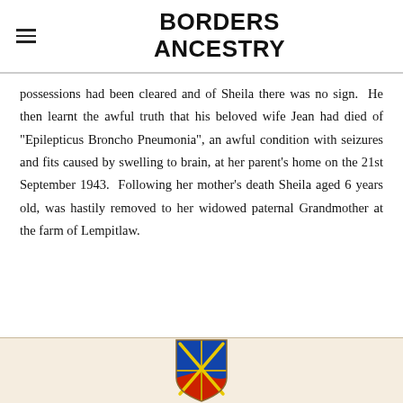BORDERS ANCESTRY
possessions had been cleared and of Sheila there was no sign.  He then learnt the awful truth that his beloved wife Jean had died of "Epilepticus Broncho Pneumonia", an awful condition with seizures and fits caused by swelling to brain, at her parent's home on the 21st September 1943.  Following her mother's death Sheila aged 6 years old, was hastily removed to her widowed paternal Grandmother at the farm of Lempitlaw.
[Figure (illustration): Heraldic coat of arms / shield on a cream/beige aged parchment background. The shield is divided into quadrants with red and blue sections, featuring crossed yellow/gold items (possibly swords or keys) in an X pattern over the divisions.]